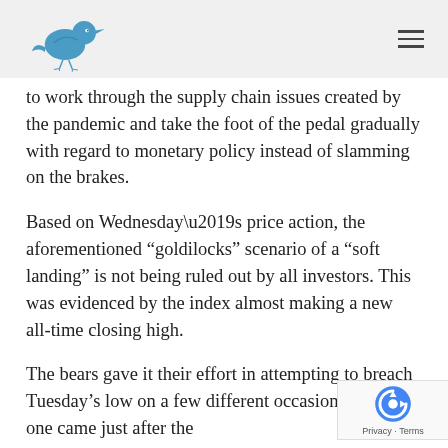[Bird logo] [Hamburger menu]
to work through the supply chain issues created by the pandemic and take the foot of the pedal gradually with regard to monetary policy instead of slamming on the brakes.
Based on Wednesday’s price action, the aforementioned “goldilocks” scenario of a “soft landing” is not being ruled out by all investors. This was evidenced by the index almost making a new all-time closing high.
The bears gave it their effort in attempting to breach Tuesday’s low on a few different occasions. The last one came just after the